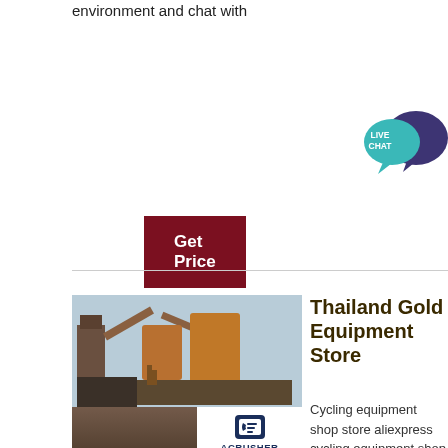environment and chat with
Get Price
[Figure (illustration): Live chat bubble icon with teal and purple speech bubbles and 'LIVE CHAT' text]
[Figure (photo): Photograph of industrial gold mining equipment / crusher machinery at a site, with ACRUSHER Mining Equipment logo overlay]
Thailand Gold Equipment Store
Cycling equipment shop store aliexpress cycling equipment shop store has all kinds of kmc x10el x10 extra light gold race chains cycle deraillr chain 10 speed mountain mtb road bicycle chain 116 links originalultralight 3k full carbon fiber mountain bike mtb bicycle onepiece flat handlebar with stem bicycle